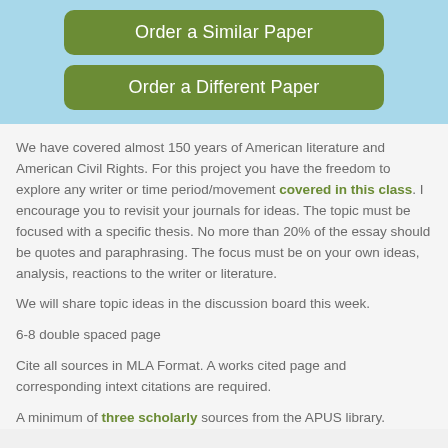[Figure (other): Two green rounded buttons on light blue background: 'Order a Similar Paper' and 'Order a Different Paper']
We have covered almost 150 years of American literature and American Civil Rights. For this project you have the freedom to explore any writer or time period/movement covered in this class. I encourage you to revisit your journals for ideas. The topic must be focused with a specific thesis. No more than 20% of the essay should be quotes and paraphrasing. The focus must be on your own ideas, analysis, reactions to the writer or literature.
We will share topic ideas in the discussion board this week.
6-8 double spaced page
Cite all sources in MLA Format. A works cited page and corresponding intext citations are required.
A minimum of three scholarly sources from the APUS library.